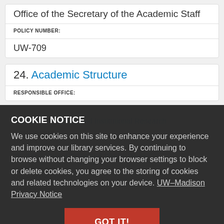Office of the Secretary of the Academic Staff
POLICY NUMBER:
UW-709
24. Academic Structure
RESPONSIBLE OFFICE:
Academic Planning and Institutional Research
POLICY NUMBER:
UW-1042
25. Appointment Titles and Ranks Policy
RESPONSIBLE OFFICE:
Office of the Provost
POLICY NUMBER:
COOKIE NOTICE
We use cookies on this site to enhance your experience and improve our library services. By continuing to browse without changing your browser settings to block or delete cookies, you agree to the storing of cookies and related technologies on your device. UW–Madison Privacy Notice
GOT IT!